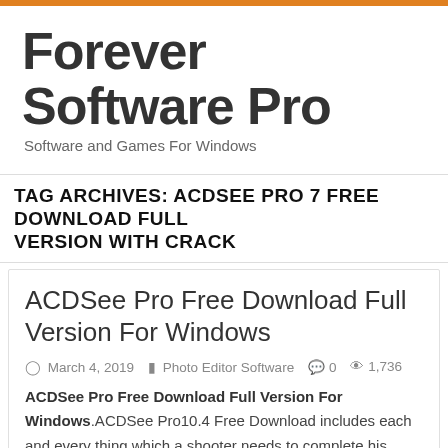Forever Software Pro
Software and Games For Windows
TAG ARCHIVES: ACDSEE PRO 7 FREE DOWNLOAD FULL VERSION WITH CRACK
ACDSee Pro Free Download Full Version For Windows
March 4, 2019   Photo Editor Software   0   1,736
ACDSee Pro Free Download Full Version For Windows.ACDSee Pro10.4 Free Download includes each and every thing which a shooter needs to complete his work. Free ACDSee Pro10.4 is a veritably simple tool for organizing, viewing, participating and editing a image. By using this rearmost interpretation of software you can ameliorate your productivity in image processing. Rearmost interpretation of ACDSee Photo Studio Professional got a veritably